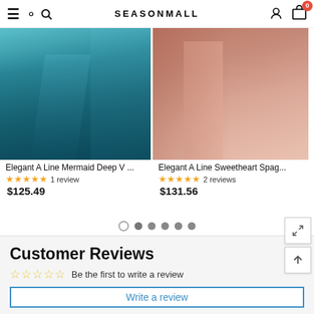SEASONMALL — navigation header with hamburger menu, search, account, and cart (0 items)
[Figure (photo): Teal/blue A-line mermaid gown worn by a model, fabric flowing on a deck with greenery in background]
Elegant A Line Mermaid Deep V ...
★★★★★ 1 review
$125.49
[Figure (photo): Pink A-line sweetheart spaghetti strap gown with slit, worn by a model in front of a brick wall]
Elegant A Line Sweetheart Spag...
★★★★★ 2 reviews
$131.56
Customer Reviews
☆☆☆☆☆ Be the first to write a review
Write a review